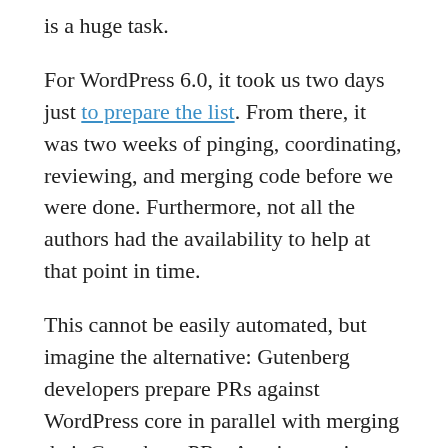is a huge task.
For WordPress 6.0, it took us two days just to prepare the list. From there, it was two weeks of pinging, coordinating, reviewing, and merging code before we were done. Furthermore, not all the authors had the availability to help at that point in time.
This cannot be easily automated, but imagine the alternative: Gutenberg developers prepare PRs against WordPress core in parallel with merging their Gutenberg PRs. Any integration issues get surfaced right away, there are fewer merge conflicts, and the release leads don't have to spend two weeks investigating the commit history and pinging code authors. The future availability of the developers isn't a problem anymore either.